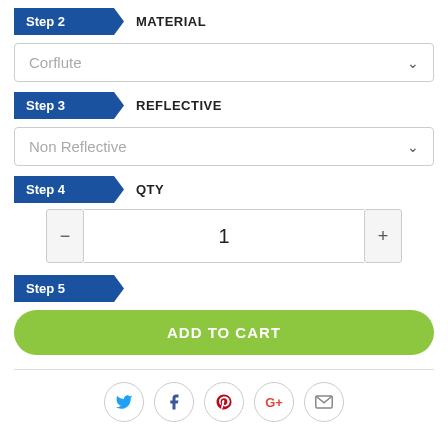Step 2  MATERIAL
Corflute
Step 3  REFLECTIVE
Non Reflective
Step 4  QTY
1
Step 5
ADD TO CART
[Figure (other): Social sharing icons row: Twitter (blue bird), Facebook (blue f), Pinterest (red p), Google+ (red G+), Email (grey envelope)]